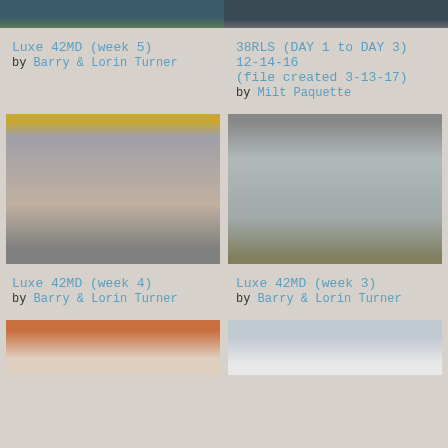[Figure (photo): Partial top view of Luxe 42MD week 5 construction photo, cropped at top]
[Figure (photo): Partial top view of 38RLS construction photo, cropped at top]
Luxe 42MD (week 5)
by Barry & Lorin Turner
38RLS (DAY 1 to DAY 3) 12-14-16 (file created 3-13-17)
by Milt Paquette
[Figure (photo): Luxe 42MD week 4 - exterior side view of RV/trailer under construction in workshop, foil insulation and wood panels visible, yellow overhead crane]
[Figure (photo): Luxe 42MD week 3 - exterior side view of RV/trailer under construction in warehouse, metallic exterior visible]
Luxe 42MD (week 4)
by Barry & Lorin Turner
Luxe 42MD (week 3)
by Barry & Lorin Turner
[Figure (photo): Partial bottom view of another Luxe construction photo, cropped at bottom]
[Figure (photo): Partial bottom view of another Luxe construction photo, cropped at bottom]